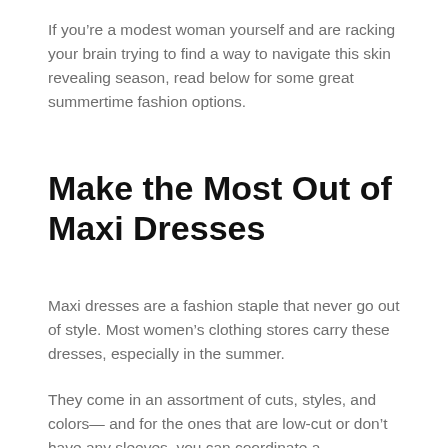If you’re a modest woman yourself and are racking your brain trying to find a way to navigate this skin revealing season, read below for some great summertime fashion options.
Make the Most Out of Maxi Dresses
Maxi dresses are a fashion staple that never go out of style. Most women’s clothing stores carry these dresses, especially in the summer.
They come in an assortment of cuts, styles, and colors— and for the ones that are low-cut or don’t have any sleeves, you can coordinate a